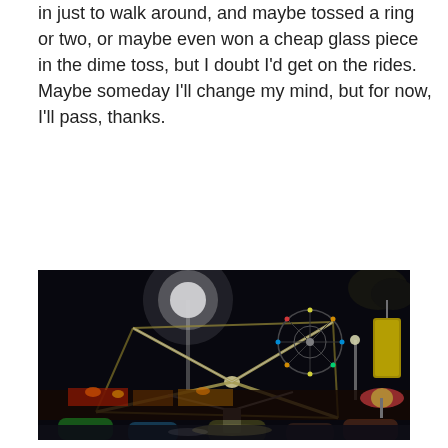in just to walk around, and maybe tossed a ring or two, or maybe even won a cheap glass piece in the dime toss, but I doubt I'd get on the rides.  Maybe someday I'll change my mind, but for now, I'll pass, thanks.
[Figure (photo): Night photo of a carnival/fair showing illuminated rides including a spinning ride with bright white light trails forming geometric patterns, a colorful Ferris wheel in the background, a tall light pole, and a yellow swinging gondola ride on the right. The foreground shows bumper cars in motion. Food stands and colorful carnival lights are visible in the middle ground.]